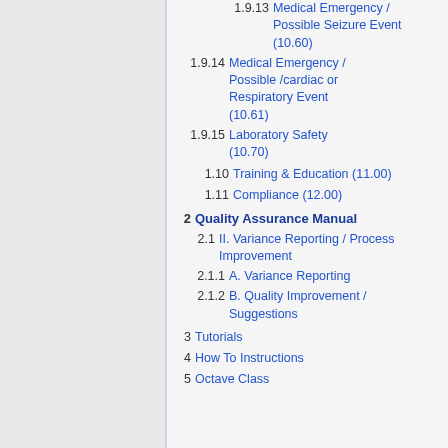1.9.13 Medical Emergency / Possible Seizure Event (10.60)
1.9.14 Medical Emergency / Possible /cardiac or Respiratory Event (10.61)
1.9.15 Laboratory Safety (10.70)
1.10 Training & Education (11.00)
1.11 Compliance (12.00)
2 Quality Assurance Manual
2.1 II. Variance Reporting / Process Improvement
2.1.1 A. Variance Reporting
2.1.2 B. Quality Improvement / Suggestions
3 Tutorials
4 How To Instructions
5 Octave Class